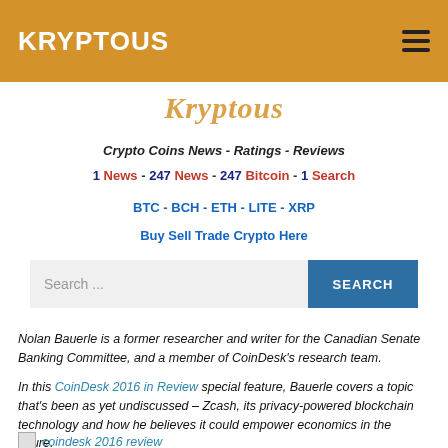KRYPTOUS
Kryptous
Crypto Coins News - Ratings - Reviews
1 News - 247 News - 247 Bitcoin - 1 Search
BTC - BCH - ETH - LITE - XRP
Buy Sell Trade Crypto Here
Search ...
Nolan Bauerle is a former researcher and writer for the Canadian Senate Banking Committee, and a member of CoinDesk's research team.
In this CoinDesk 2016 in Review special feature, Bauerle covers a topic that's been as yet undiscussed – Zcash, its privacy-powered blockchain technology and how he believes it could empower economics in the future.
coindesk 2016 review